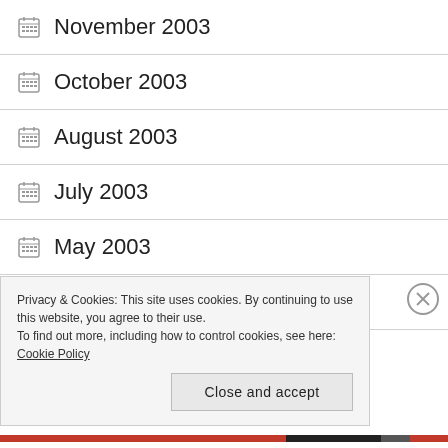November 2003
October 2003
August 2003
July 2003
May 2003
April 2003
February 2003
Privacy & Cookies: This site uses cookies. By continuing to use this website, you agree to their use.
To find out more, including how to control cookies, see here: Cookie Policy
Close and accept